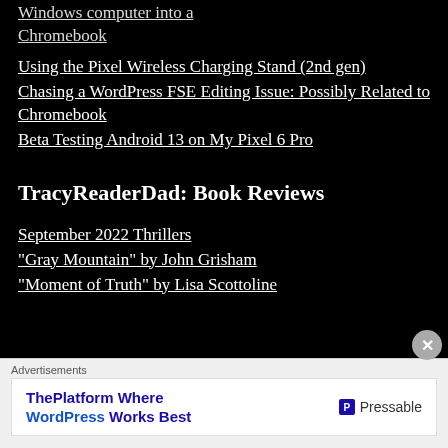Windows computer into a Chromebook
Using the Pixel Wireless Charging Stand (2nd gen)
Chasing a WordPress FSE Editing Issue: Possibly Related to Chromebook
Beta Testing Android 13 on My Pixel 6 Pro
TracyReaderDad: Book Reviews
September 2022 Thrillers
“Gray Mountain” by John Grisham
“Moment of Truth” by Lisa Scottoline
Advertisements
[Figure (other): Pressable advertisement banner: 'ThePlatform Where WordPress Works Best' with Pressable logo]